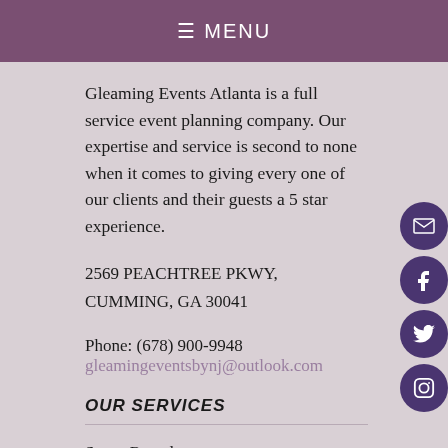≡ MENU
Gleaming Events Atlanta is a full service event planning company. Our expertise and service is second to none when it comes to giving every one of our clients and their guests a 5 star experience.
2569 PEACHTREE PKWY,
CUMMING, GA 30041
Phone: (678) 900-9948
gleamingeventsbynj@outlook.com
OUR SERVICES
Space Rentals
Event Planning
Decorations
Corporate Event Planning